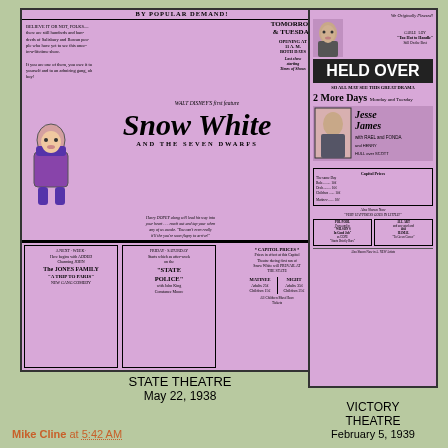[Figure (photo): Scanned newspaper advertisement for Snow White and the Seven Dwarfs at the State Theatre, featuring Walt Disney's first feature film, showing May 22, 1938. Includes image of a dwarf character, Snow White title in stylized script, sidebar text about showing times and prices, and bottom boxes for Jones Family, State Police, and Capitol Prices.]
STATE THEATRE
May 22, 1938
[Figure (photo): Scanned newspaper advertisement for Victory Theatre showing Jesse James, February 5, 1939. Features 'HELD OVER' banner, '2 More Days Monday and Tuesday', 'SO ALL MAY SEE THIS GREAT DRAMA', Jesse James title with photo, and Capitol prices box with bottom smaller ads.]
VICTORY THEATRE
February 5, 1939
Mike Cline at 5:42 AM